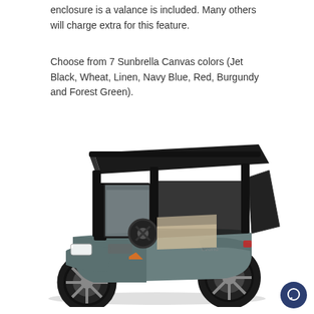enclosure is a valance is included. Many others will charge extra for this feature.
Choose from 7 Sunbrella Canvas colors (Jet Black, Wheat, Linen, Navy Blue, Red, Burgundy and Forest Green).
[Figure (photo): A golf cart with black canvas enclosure panels on a white background. The cart is grey/teal colored with black roof and custom wheels.]